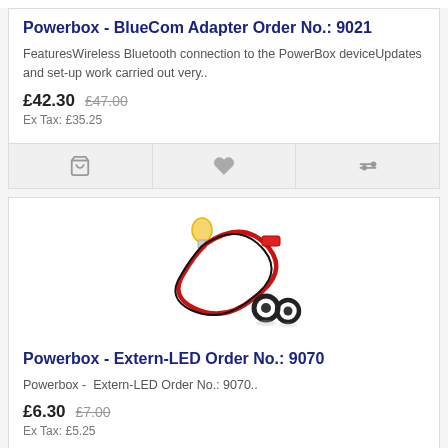Powerbox - BlueCom Adapter Order No.: 9021
FeaturesWireless Bluetooth connection to the PowerBox deviceUpdates and set-up work carried out very..
£42.30  £47.00
Ex Tax: £35.25
[Figure (photo): LED with red wire and two black mounting rings for Powerbox Extern-LED product]
Powerbox - Extern-LED Order No.: 9070
Powerbox -  Extern-LED Order No.: 9070..
£6.30  £7.00
Ex Tax: £5.25